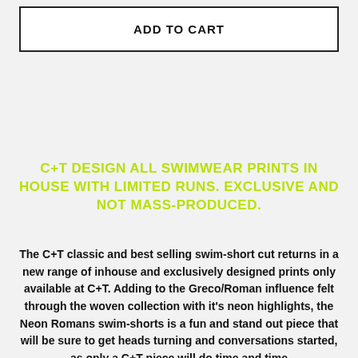ADD TO CART
C+T DESIGN ALL SWIMWEAR PRINTS IN HOUSE WITH LIMITED RUNS. EXCLUSIVE AND NOT MASS-PRODUCED.
The C+T classic and best selling swim-short cut returns in a new range of inhouse and exclusively designed prints only available at C+T. Adding to the Greco/Roman influence felt through the woven collection with it's neon highlights, the Neon Romans swim-shorts is a fun and stand out piece that will be sure to get heads turning and conversations started, as only a C+T piece will do time and time